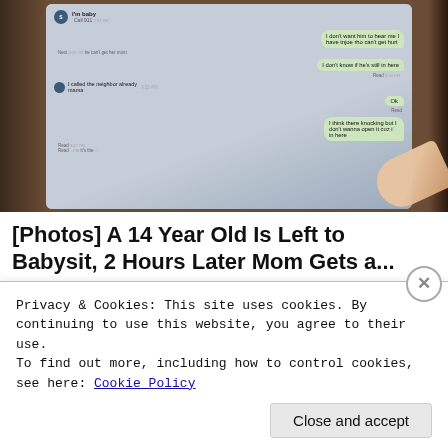[Figure (photo): A close-up photo of a smartphone screen showing an iMessage conversation. The chat includes messages such as 'I'm baby', 'Call 911', 'I don't want him to hear me I have tnjoe rho can't get hurt', 'he can't get her mom', 'I don't know if he's still in here', 'I called the neighbor already mama', 'Ok', 'I think there knocking but I don't wanna open it cuz if... in here', 'it's the...'. A finger is visible pressing the screen.]
[Photos] A 14 Year Old Is Left to Babysit, 2 Hours Later Mom Gets a...
12Up
Privacy & Cookies: This site uses cookies. By continuing to use this website, you agree to their use.
To find out more, including how to control cookies, see here: Cookie Policy
Close and accept